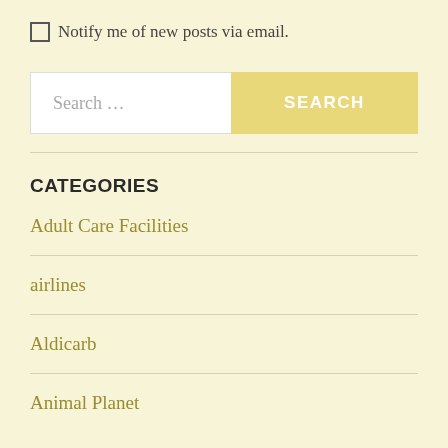Notify me of new posts via email.
Search ...
CATEGORIES
Adult Care Facilities
airlines
Aldicarb
Animal Planet